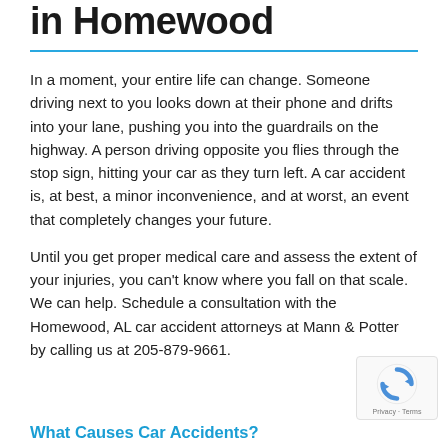in Homewood
In a moment, your entire life can change. Someone driving next to you looks down at their phone and drifts into your lane, pushing you into the guardrails on the highway. A person driving opposite you flies through the stop sign, hitting your car as they turn left. A car accident is, at best, a minor inconvenience, and at worst, an event that completely changes your future.
Until you get proper medical care and assess the extent of your injuries, you can't know where you fall on that scale. We can help. Schedule a consultation with the Homewood, AL car accident attorneys at Mann & Potter by calling us at 205-879-9661.
What Causes Car Accidents?